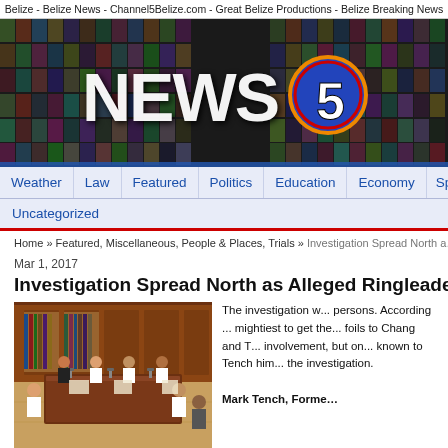Belize - Belize News - Channel5Belize.com - Great Belize Productions - Belize Breaking News
[Figure (screenshot): Channel 5 Belize NEWS 5 logo banner with mosaic background of colorful images and the large NEWS 5 logo in the center]
Weather   Law   Featured   Politics   Education   Economy   Sport   Uncategorized
Home » Featured, Miscellaneous, People & Places, Trials » Investigation Spread North a...
Mar 1, 2017
Investigation Spread North as Alleged Ringleader C…
[Figure (photo): Courtroom scene with people seated at wooden tables in a paneled room with bookshelves]
The investigation w... persons. According... mightiest to get the... foils to Chang and T... involvement, but on... known to Tench him... the investigation.

Mark Tench, Forme…